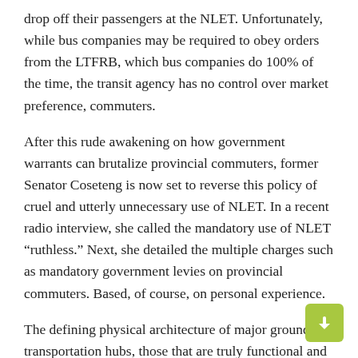drop off their passengers at the NLET. Unfortunately, while bus companies may be required to obey orders from the LTFRB, which bus companies do 100% of the time, the transit agency has no control over market preference, commuters.
After this rude awakening on how government warrants can brutalize provincial commuters, former Senator Coseteng is now set to reverse this policy of cruel and utterly unnecessary use of NLET. In a recent radio interview, she called the mandatory use of NLET “ruthless.” Next, she detailed the multiple charges such as mandatory government levies on provincial commuters. Based, of course, on personal experience.
The defining physical architecture of major ground transportation hubs, those that are truly functional and meet the mobility needs of commuters, was detailed by one of the country’s famous architects, Felino Palafox Jr., who was in this same forum radio with Coseteng.
New York’s Grand Central Station sits inside the Big Apple and is an incredible hub for connecting and interconnecting rides, Palafox said. Moreover, our current ground transportation policies are